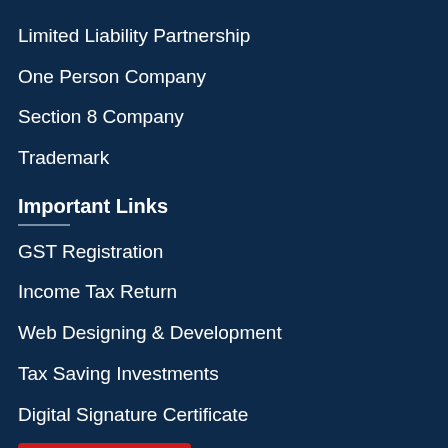Limited Liability Partnership
One Person Company
Section 8 Company
Trademark
Important Links
GST Registration
Income Tax Return
Web Designing & Development
Tax Saving Investments
Digital Signature Certificate
[Figure (other): Red Message button with alien/chat icon and bold white text 'Message']
Legal Formats